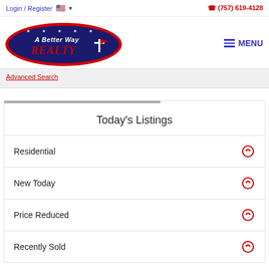Login / Register   🇺🇸 ▾   (757) 619-4128
[Figure (logo): A Better Way Realty oval logo with navy blue background, white stars, white and red text]
MENU
Advanced Search
Today's Listings
Residential
New Today
Price Reduced
Recently Sold